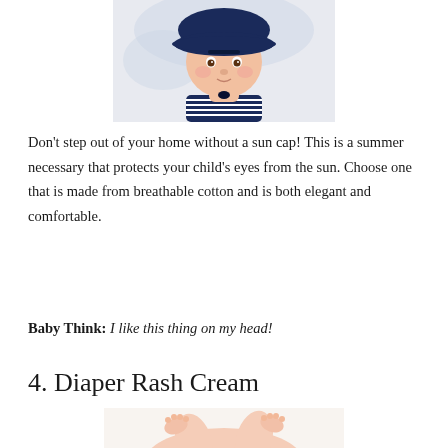[Figure (photo): Baby wearing a navy blue and white striped sailor outfit and a navy sun cap, looking at the camera]
Don't step out of your home without a sun cap! This is a summer necessary that protects your child's eyes from the sun. Choose one that is made from breathable cotton and is both elegant and comfortable.
Baby Think: I like this thing on my head!
4. Diaper Rash Cream
[Figure (photo): Baby lying down, showing bare legs and bottom area, representing diaper rash cream product context]